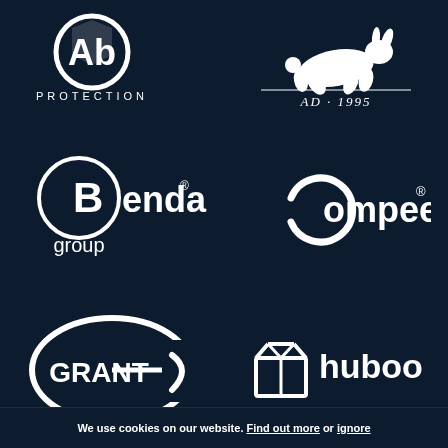[Figure (logo): Abon Protection logo - white text on dark navy background]
[Figure (logo): AD 1995 rabbit logo - white illustration of running rabbit with AD.1995 text]
[Figure (logo): Bendac group logo - white circular B icon with Bendac group text]
[Figure (logo): Compeed registered trademark logo - white text with C circle icon]
[Figure (logo): Grant logo - white oval G shape with GRANT text]
[Figure (logo): huboo logo - white box icon with huboo text]
[Figure (logo): macron logo - white geometric V shape with diamond and macron text]
[Figure (logo): rwk goodman logo - white swoosh lines with rwk goodman text]
We use cookies on our website. Find out more or ignore